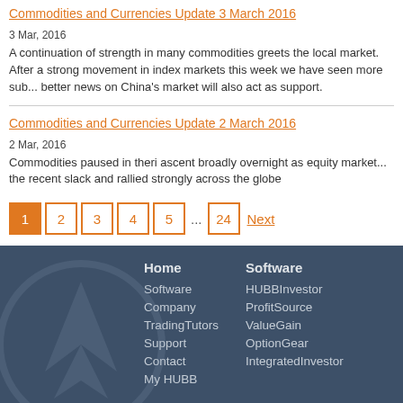Commodities and Currencies Update 3 March 2016
3 Mar, 2016
A continuation of strength in many commodities greets the local market. After a strong movement in index markets this week we have seen more sub... better news on China's market will also act as support.
Commodities and Currencies Update 2 March 2016
2 Mar, 2016
Commodities paused in theri ascent broadly overnight as equity market... the recent slack and rallied strongly across the globe
1 2 3 4 5 ... 24 Next
Home Software Company TradingTutors Support Contact My HUBB | Software HUBBInvestor ProfitSource ValueGain OptionGear IntegratedInvestor